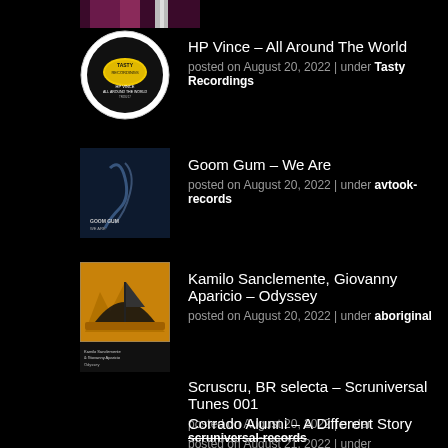[Figure (photo): Partial album art visible at top of page (cropped)]
HP Vince – All Around The World
posted on August 20, 2022 | under Tasty Recordings
[Figure (photo): Tasty Recordings label logo, circular black and white with yellow, HP Vince All Around The World]
Goom Gum – We Are
posted on August 20, 2022 | under avtook-records
[Figure (photo): Goom Gum We Are album art, dark blue with smoke/abstract shapes]
Kamilo Sanclemente, Giovanny Aparicio – Odyssey
posted on August 20, 2022 | under aboriginal
[Figure (photo): Kamilo Sanclemente Odyssey album art, golden/orange with sailing ship silhouette]
Scruscru, BR selecta – Scruniversal Tunes 001
posted on August 20, 2022 | under scruniversal-records
Corrado Alunni – A Different Story
posted on August 21, 2022 | under Peppermint Jam